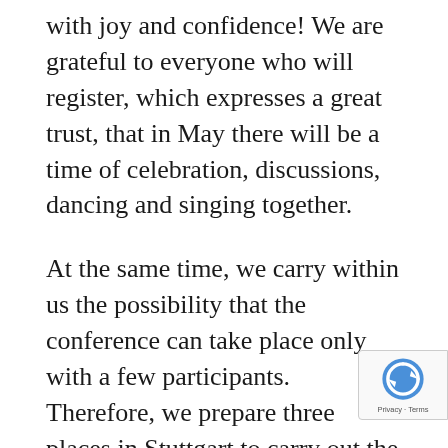with joy and confidence! We are grateful to everyone who will register, which expresses a great trust, that in May there will be a time of celebration, discussions, dancing and singing together.
At the same time, we carry within us the possibility that the conference can take place only with a few participants. Therefore, we prepare three places in Stuttgart to carry out the Festival.
This calls for a great inner flexibility on our and your part, who register for the Festival. Therefore, we would like to point out that in of a cancellation of the conference, and also case of a withdrawal on your part, the conference